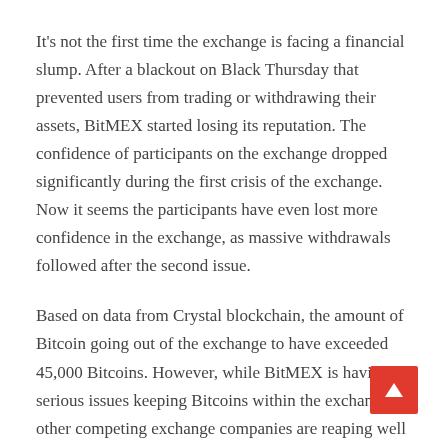It's not the first time the exchange is facing a financial slump. After a blackout on Black Thursday that prevented users from trading or withdrawing their assets, BitMEX started losing its reputation. The confidence of participants on the exchange dropped significantly during the first crisis of the exchange. Now it seems the participants have even lost more confidence in the exchange, as massive withdrawals followed after the second issue.
Based on data from Crystal blockchain, the amount of Bitcoin going out of the exchange to have exceeded 45,000 Bitcoins. However, while BitMEX is having serious issues keeping Bitcoins within the exchange, other competing exchange companies are reaping well from Bitminex's loss.
Exchanges such as Binance and Gemini seem to be the